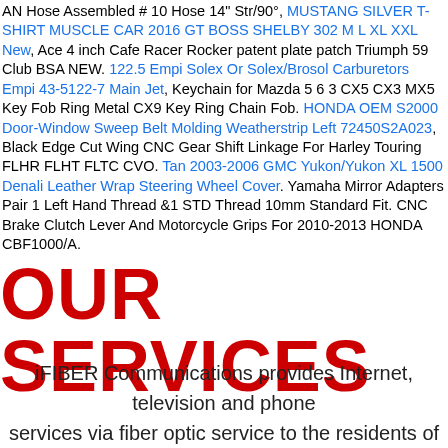AN Hose Assembled # 10 Hose 14" Str/90°, MUSTANG SILVER T-SHIRT MUSCLE CAR 2016 GT BOSS SHELBY 302 M L XL XXL New, Ace 4 inch Cafe Racer Rocker patent plate patch Triumph 59 Club BSA NEW. 122.5 Empi Solex Or Solex/Brosol Carburetors Empi 43-5122-7 Main Jet, Keychain for Mazda 5 6 3 CX5 CX3 MX5 Key Fob Ring Metal CX9 Key Ring Chain Fob. HONDA OEM S2000 Door-Window Sweep Belt Molding Weatherstrip Left 72450S2A023, Black Edge Cut Wing CNC Gear Shift Linkage For Harley Touring FLHR FLHT FLTC CVO. Tan 2003-2006 GMC Yukon/Yukon XL 1500 Denali Leather Wrap Steering Wheel Cover. Yamaha Mirror Adapters Pair 1 Left Hand Thread &1 STD Thread 10mm Standard Fit. CNC Brake Clutch Lever And Motorcycle Grips For 2010-2013 HONDA CBF1000/A.
OUR SERVICES
iFIBER Communications provides Internet, television and phone services via fiber optic service to the residents of Washington State